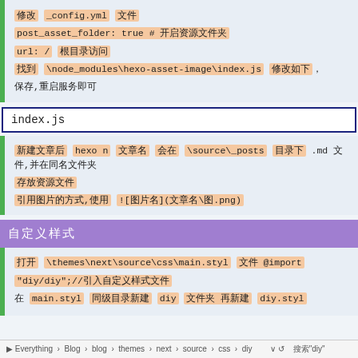修改 _config.yml 文件
post_asset_folder: true # 开启资源文件夹
url: / 根目录访问
找到 \node_modules\hexo-asset-image\index.js 修改如下，保存,重启服务即可
index.js
新建文章后 hexo n 文章名 会在 \source\_posts 目录下生成 .md 文件,并在同名文件夹
存放资源文件
引用图片的方式,使用 ![图片名](文章名\图.png)
自定义样式
打开 \themes\next\source\css\main.styl 文件 @import
"diy/diy";//引入自定义样式文件
在 main.styl 同级目录新建 diy 文件夹 再新建 diy.styl
Everything > Blog > blog > themes > next > source > css > diy    搜索'diy'